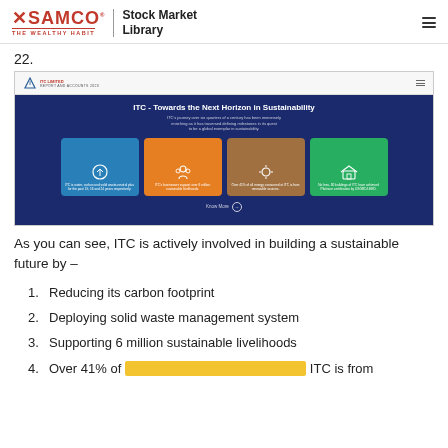SAMCO THE WEALTHY HABIT | Stock Market Library
22.
[Figure (screenshot): Screenshot of ITC Annual Report page titled 'ITC - Towards the Next Horizon in Sustainability' with four colored cards: blue (waste recycling), orange (livelihoods), brown (renewable energy), green (green buildings).]
As you can see, ITC is actively involved in building a sustainable future by –
Reducing its carbon footprint
Deploying solid waste management system
Supporting 6 million sustainable livelihoods
Over 41% of … ITC is from